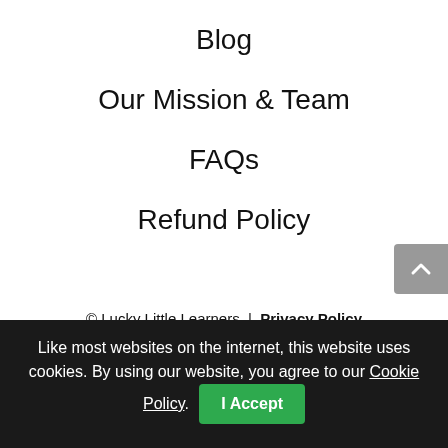Blog
Our Mission & Team
FAQs
Refund Policy
© Lucky Little Learners | Privacy Policy | Terms of Use
Like most websites on the internet, this website uses cookies. By using our website, you agree to our Cookie Policy.
I Accept